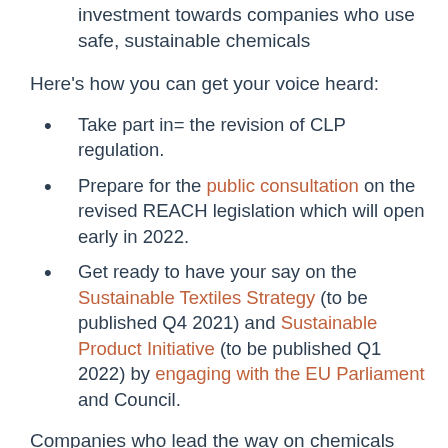investment towards companies who use safe, sustainable chemicals
Here's how you can get your voice heard:
Take part in= the revision of CLP regulation.
Prepare for the public consultation on the revised REACH legislation which will open early in 2022.
Get ready to have your say on the Sustainable Textiles Strategy (to be published Q4 2021) and Sustainable Product Initiative (to be published Q1 2022) by engaging with the EU Parliament and Council.
Companies who lead the way on chemicals legislation will contribute to improved